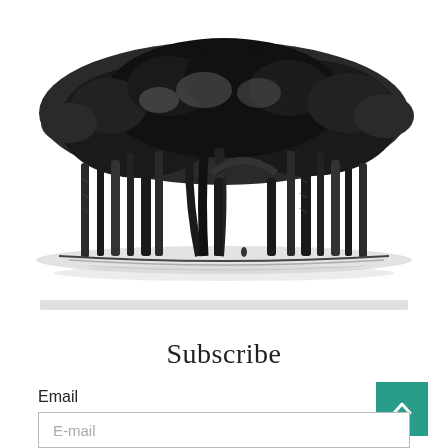[Figure (illustration): Black and white engraving/illustration of a large banyan tree with extensive aerial roots forming arch-like structures, rendered in detailed crosshatch style, centered on a white background.]
Subscribe
Email
E-mail